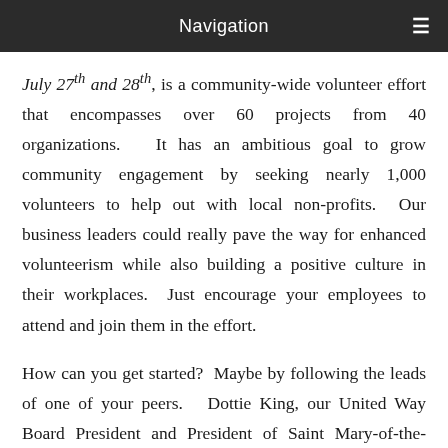Navigation
July 27th and 28th, is a community-wide volunteer effort that encompasses over 60 projects from 40 organizations.  It has an ambitious goal to grow community engagement by seeking nearly 1,000 volunteers to help out with local non-profits.  Our business leaders could really pave the way for enhanced volunteerism while also building a positive culture in their workplaces.  Just encourage your employees to attend and join them in the effort.
How can you get started?  Maybe by following the leads of one of your peers.  Dottie King, our United Way Board President and President of Saint Mary-of-the-Woods